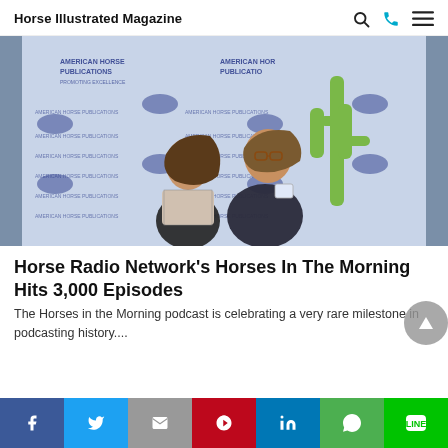Horse Illustrated Magazine
[Figure (photo): Two people posing back-to-back in front of an American Horse Publications step-and-repeat banner backdrop. A woman on the left with long hair wearing a printed blouse and a man on the right wearing a dark suit with glasses and a name badge. A cactus decoration is visible in the background.]
Horse Radio Network's Horses In The Morning Hits 3,000 Episodes
The Horses in the Morning podcast is celebrating a very rare milestone in podcasting history....